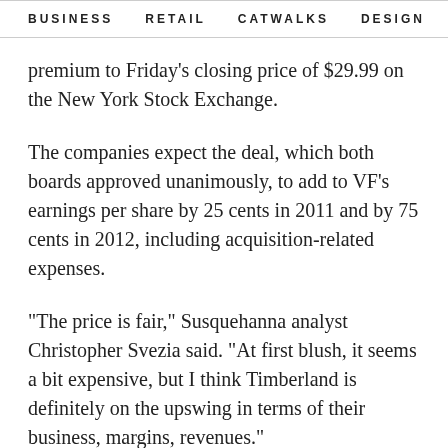BUSINESS   RETAIL   CATWALKS   DESIGN   CAMI >
premium to Friday's closing price of $29.99 on the New York Stock Exchange.
The companies expect the deal, which both boards approved unanimously, to add to VF's earnings per share by 25 cents in 2011 and by 75 cents in 2012, including acquisition-related expenses.
"The price is fair," Susquehanna analyst Christopher Svezia said. "At first blush, it seems a bit expensive, but I think Timberland is definitely on the upswing in terms of their business, margins, revenues."
The news boosted Timberland shares by 42.6 percent to